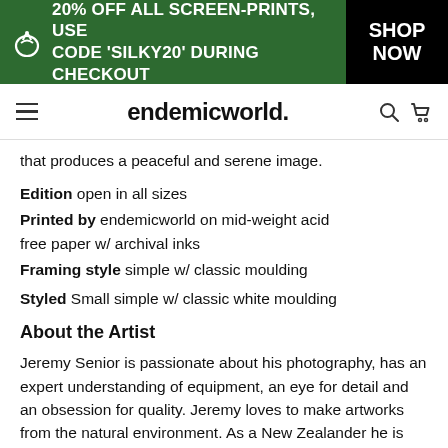20% OFF ALL SCREEN-PRINTS, USE CODE 'SILKY20' DURING CHECKOUT — SHOP NOW
endemicworld.
that produces a peaceful and serene image.
Edition open in all sizes
Printed by endemicworld on mid-weight acid free paper w/ archival inks
Framing style simple w/ classic moulding
Styled Small simple w/ classic white moulding
About the Artist
Jeremy Senior is passionate about his photography, has an expert understanding of equipment, an eye for detail and an obsession for quality. Jeremy loves to make artworks from the natural environment. As a New Zealander he is